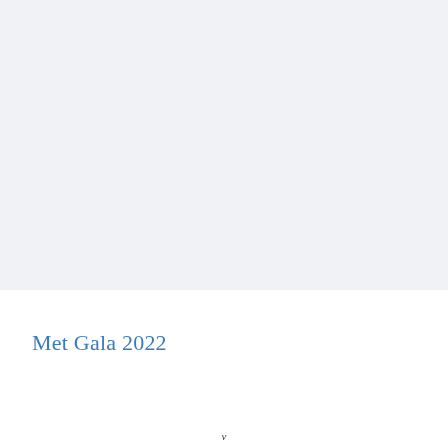[Figure (photo): Light gray-blue background image area occupying the upper portion of the page]
Met Gala 2022
v